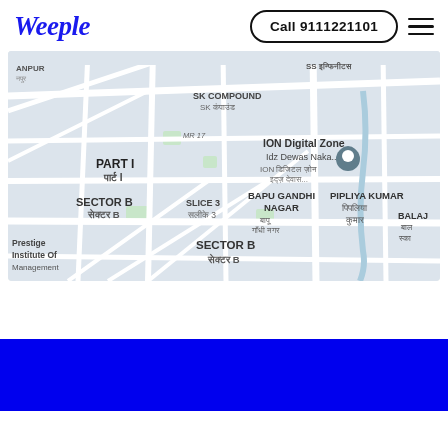[Figure (logo): Weeple logo in blue italic serif font]
Call 9111221101
[Figure (map): Google Maps screenshot showing area around ION Digital Zone Idz Dewas Naka in Indore, India. Shows localities: SK Compound, Part I, Sector B, Slice 3, Bapu Gandhi Nagar, Pipliya Kumar, Balaj. Labels in both English and Hindi (Devanagari). A location pin marker is visible on ION Digital Zone.]
[Figure (other): Solid blue footer bar at bottom of page]